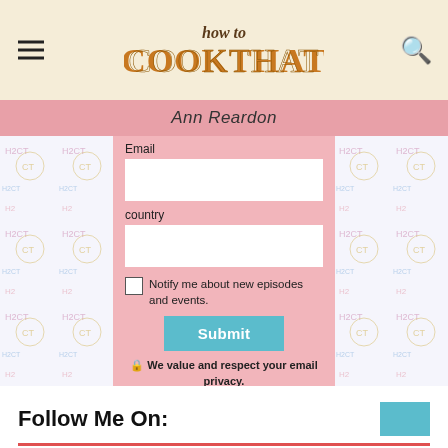[Figure (logo): How To Cook That logo with decorative lettering on beige header background with hamburger menu and search icon]
Ann Reardon
[Figure (screenshot): Email newsletter sign-up form with Email field, country field, notify me checkbox, Submit button, and privacy note on pink background, surrounded by HowToCookThat patterned wallpaper]
Follow Me On: